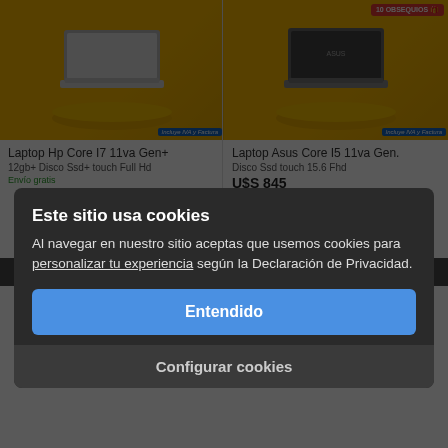[Figure (screenshot): Product listing page showing two laptops on yellow background: Laptop Hp Core I7 11va Gen+ and Laptop Asus Core I5 11va Gen, partially visible behind cookie consent modal]
Laptop Hp Core I7 11va Gen+
12gb+ Disco Ssd+ touch Full Hd
Laptop Asus Core I5 11va Gen.
Disco Ssd touch 15.6 Fhd
U$S 845
Envío gratis
Envío gratis
Este sitio usa cookies
Al navegar en nuestro sitio aceptas que usemos cookies para personalizar tu experiencia según la Declaración de Privacidad.
Entendido
Configurar cookies